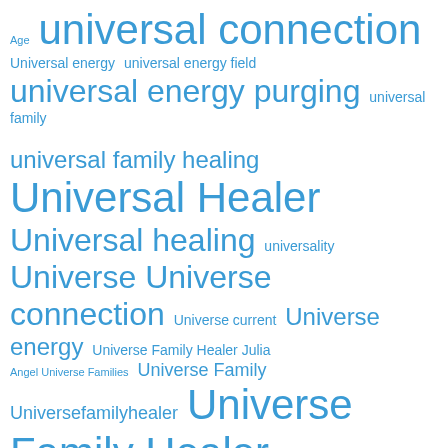[Figure (infographic): Tag cloud / word cloud with terms related to 'Universe Family Healing' in varying font sizes, all in blue. Larger words appear more frequently or are more important. Terms include: Age, universal connection, Universal energy, universal energy field, universal energy purging, universal family, universal family healing, Universal Healer, Universal healing, universality, Universe, Universe connection, Universe current, Universe energy, Universe Family Healer Julia, Angel Universe Families, Universe Family, Universefamilyhealer, Universe Family Healer, Universe Family Healers, Universe Family Healing, Universe Healing, universe journeys, Universe Mate, Universe mates, Universe Parallel, Universe Talk, Universe Time, Universe Time Transition, Universe Transition, Universe Transition Time, Univers Family Healer, unsafe high school, Unverse Time, Urge to purge, violent behavior during healing/purging, War, weight]